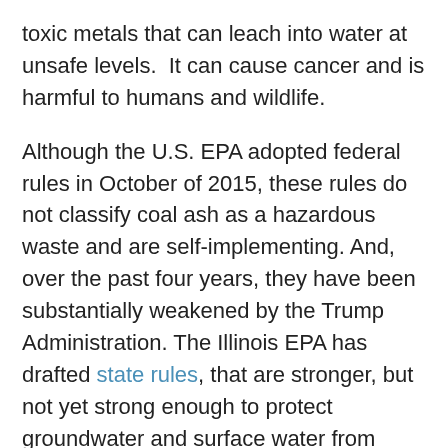toxic metals that can leach into water at unsafe levels.  It can cause cancer and is harmful to humans and wildlife.
Although the U.S. EPA adopted federal rules in October of 2015, these rules do not classify coal ash as a hazardous waste and are self-implementing. And, over the past four years, they have been substantially weakened by the Trump Administration. The Illinois EPA has drafted state rules, that are stronger, but not yet strong enough to protect groundwater and surface water from leaking coal ash pollution when impoundments are unlined.
Illinois has the most coal ash disposal sites of any state in the country, and ranks second in the nation with respect to the number of contaminated sites.  Join EJC